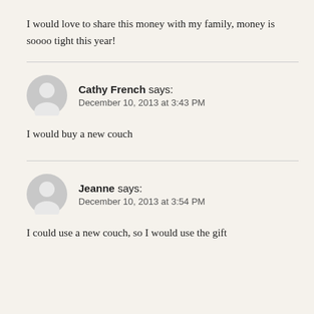I would love to share this money with my family, money is soooo tight this year!
[Figure (illustration): Gray avatar icon for Cathy French]
Cathy French says:
December 10, 2013 at 3:43 PM
I would buy a new couch
[Figure (illustration): Gray avatar icon for Jeanne]
Jeanne says:
December 10, 2013 at 3:54 PM
I could use a new couch, so I would use the gift